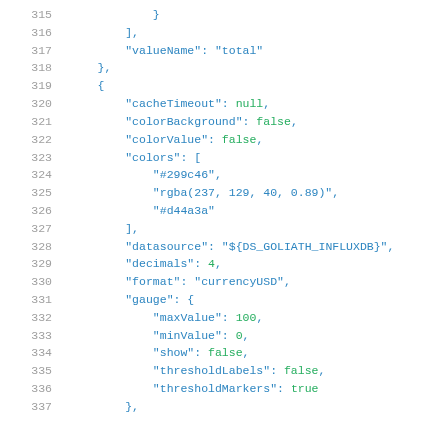315     }
316     ],
317     "valueName": "total"
318     },
319     {
320         "cacheTimeout": null,
321         "colorBackground": false,
322         "colorValue": false,
323         "colors": [
324             "#299c46",
325             "rgba(237, 129, 40, 0.89)",
326             "#d44a3a"
327         ],
328         "datasource": "${DS_GOLIATH_INFLUXDB}",
329         "decimals": 4,
330         "format": "currencyUSD",
331         "gauge": {
332             "maxValue": 100,
333             "minValue": 0,
334             "show": false,
335             "thresholdLabels": false,
336             "thresholdMarkers": true
337         },